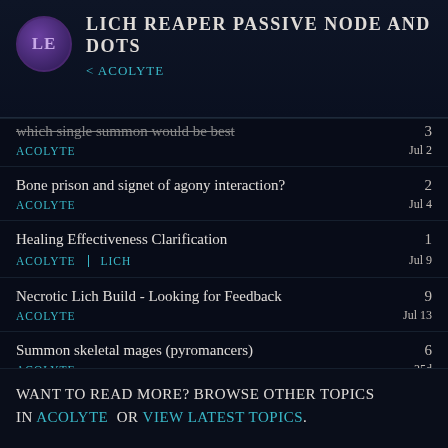Lich Reaper passive node and Dots
< Acolyte
which single summon would be best
Acolyte | 3 | Jul 2
Bone prison and signet of agony interaction?
Acolyte | 2 | Jul 4
Healing Effectiveness Clarification
Acolyte | Lich | 1 | Jul 9
Necrotic Lich Build - Looking for Feedback
Acolyte | 9 | Jul 13
Summon skeletal mages (pyromancers)
Acolyte | 6 | 25d
Want to read more? Browse other topics in Acolyte or VIEW LATEST TOPICS.